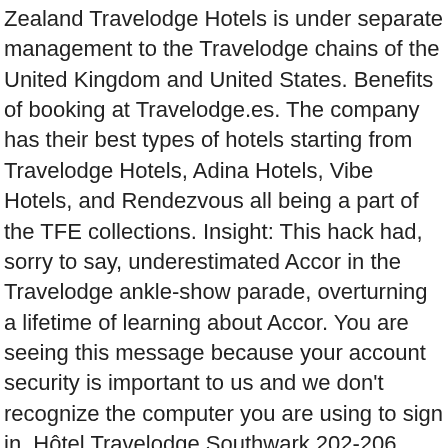Zealand Travelodge Hotels is under separate management to the Travelodge chains of the United Kingdom and United States. Benefits of booking at Travelodge.es. The company has their best types of hotels starting from Travelodge Hotels, Adina Hotels, Vibe Hotels, and Rendezvous all being a part of the TFE collections. Insight: This hack had, sorry to say, underestimated Accor in the Travelodge ankle-show parade, overturning a lifetime of learning about Accor. You are seeing this message because your account security is important to us and we don't recognize the computer you are using to sign in. Hôtel Travelodge Southwark 202-206 Union St, London SE1 0LX, Royaume-Uni, SE1 0LX londres, Royaume-Uni Voir sur la carte. And oh to be a Travelodge landlord, which is not something you hear a lot of, as they look to all the brands who are, unusually, offering to fork out cash for the pleasure of collecting what could be an estate in the hundreds in the UK. Spanning 17 acres of land in Panama City Beach, Travelodge's unique campus is capable of offering personalized experiences